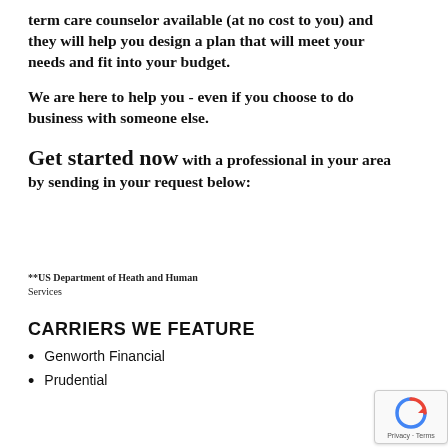term care counselor available (at no cost to you) and they will help you design a plan that will meet your needs and fit into your budget.
We are here to help you - even if you choose to do business with someone else.
Get started now with a professional in your area by sending in your request below:
**US Department of Heath and Human Services
CARRIERS WE FEATURE
Genworth Financial
Prudential